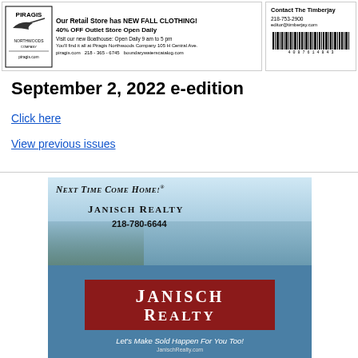[Figure (advertisement): Piragis Northwoods Company banner ad with logo, text about retail store with new fall clothing, 40% off outlet store, boathouse open daily 9am to 5pm, website piragis.com, phone 218-365-6745, boundarywaterscatalog.com]
[Figure (advertisement): Contact The Timberjay box with phone 218-753-2900, email editor@timberjay.com, and barcode]
September 2, 2022 e-edition
Click here
View previous issues
[Figure (advertisement): Janisch Realty advertisement. Top half shows lakeside scene with dog and woman, text: Next Time Come Home!® Janisch Realty 218-780-6644. Bottom half shows blue background with red box containing Janisch Realty logo, slogan: Let's Make Sold Happen For You Too!]